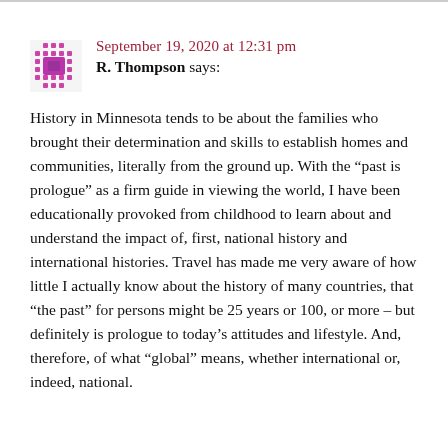September 19, 2020 at 12:31 pm
R. Thompson says:
History in Minnesota tends to be about the families who brought their determination and skills to establish homes and communities, literally from the ground up. With the “past is prologue” as a firm guide in viewing the world, I have been educationally provoked from childhood to learn about and understand the impact of, first, national history and international histories. Travel has made me very aware of how little I actually know about the history of many countries, that “the past” for persons might be 25 years or 100, or more – but definitely is prologue to today’s attitudes and lifestyle. And, therefore, of what “global” means, whether international or, indeed, national.